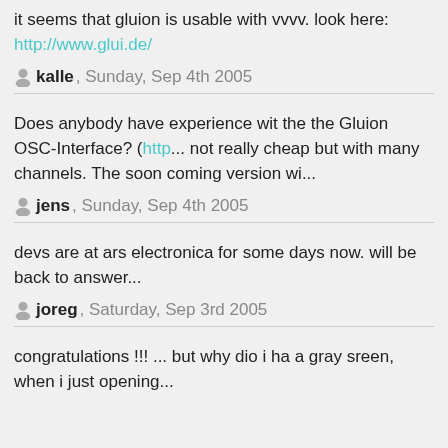it seems that gluion is usable with vvvv. look here: http://www.glui.de/
kalle, Sunday, Sep 4th 2005
Does anybody have experience wit the the Gluion OSC-Interface? (http... not really cheap but with many channels. The soon coming version wi...
jens, Sunday, Sep 4th 2005
devs are at ars electronica for some days now. will be back to answer...
joreg, Saturday, Sep 3rd 2005
congratulations !!! ... but why dio i ha a gray sreen, when i just opening...